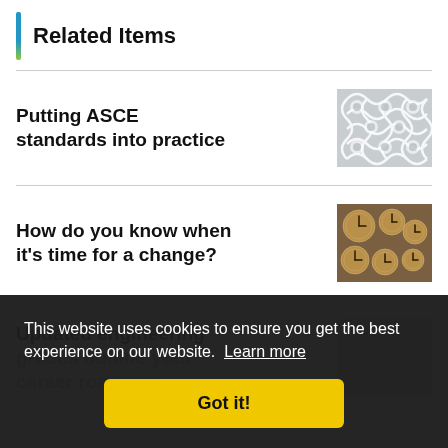Related Items
Putting ASCE standards into practice
[Figure (photo): Close-up photo of ornate white lattice metalwork with geometric cross patterns]
How do you know when it's time for a change?
[Figure (photo): Photo of multiple vintage bronze clocks arranged together]
Updated engineering grades outline your career roadmap
[Figure (photo): Partial photo showing hands, partially obscured by cookie overlay]
This website uses cookies to ensure you get the best experience on our website. Learn more
Got it!